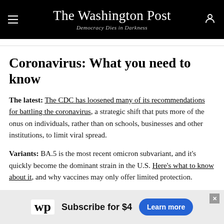The Washington Post — Democracy Dies in Darkness
Coronavirus: What you need to know
The latest: The CDC has loosened many of its recommendations for battling the coronavirus, a strategic shift that puts more of the onus on individuals, rather than on schools, businesses and other institutions, to limit viral spread.
Variants: BA.5 is the most recent omicron subvariant, and it's quickly become the dominant strain in the U.S. Here's what to know about it, and why vaccines may only offer limited protection.
Vaccines: For people under 50, second booster doses are on hold while the Biden administration works to roll out
[Figure (other): Washington Post advertisement banner: wp logo, 'Subscribe for $4', 'Learn more' blue button]